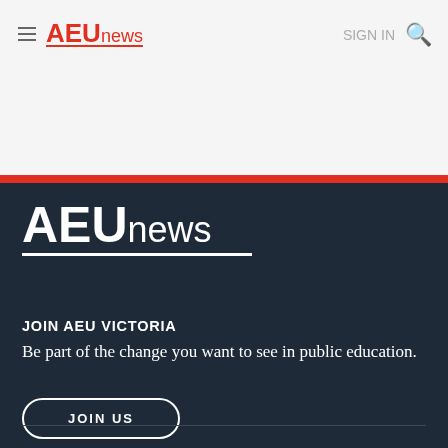AEUnews  SIGN IN 🔍
[Figure (logo): AEUnews logo in dark section with white text and underline]
JOIN AEU VICTORIA
Be part of the change you want to see in public education.
JOIN US